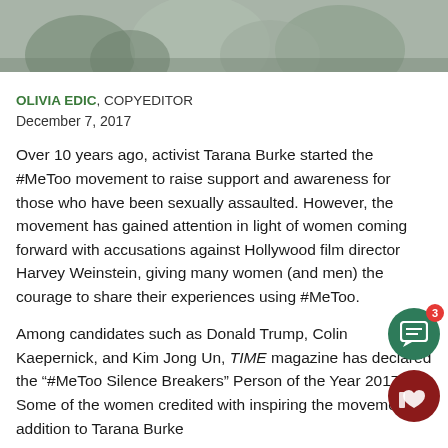[Figure (photo): Cropped photograph showing multiple people, appears to be women in a group photo, partially visible at top of page]
OLIVIA EDIC, COPYEDITOR
December 7, 2017
Over 10 years ago, activist Tarana Burke started the #MeToo movement to raise support and awareness for those who have been sexually assaulted. However, the movement has gained attention in light of women coming forward with accusations against Hollywood film director Harvey Weinstein, giving many women (and men) the courage to share their experiences using #MeToo.
Among candidates such as Donald Trump, Colin Kaepernick, and Kim Jong Un, TIME magazine has declared the “#MeToo Silence Breakers” Person of the Year 2017. Some of the women credited with inspiring the movement, in addition to Tarana Burke